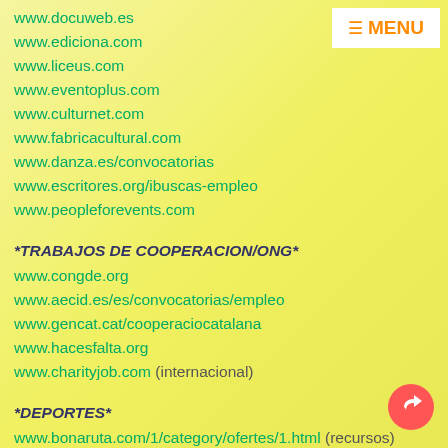www.docuweb.es
www.ediciona.com
www.liceus.com
www.eventoplus.com
www.culturnet.com
www.fabricacultural.com
www.danza.es/convocatorias
www.escritores.org/ibuscas-empleo
www.peopleforevents.com
*TRABAJOS DE COOPERACION/ONG*
www.congde.org
www.aecid.es/es/convocatorias/empleo
www.gencat.cat/cooperaciocatalana
www.hacesfalta.org
www.charityjob.com (internacional)
*DEPORTES*
www.bonaruta.com/1/category/ofertes/1.html (recursos)
www.gimnasiosonline.com/empleos